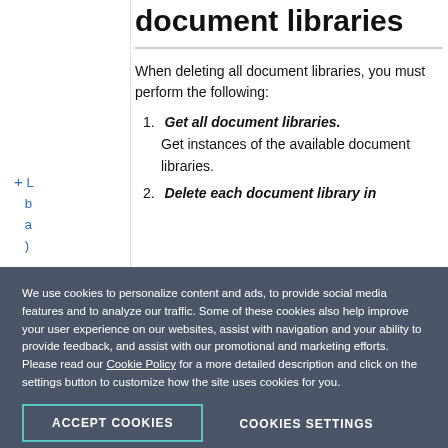Deleting all document libraries
When deleting all document libraries, you must perform the following:
1. Get all document libraries.
Get instances of the available document libraries.
2. Delete each document library in
We use cookies to personalize content and ads, to provide social media features and to analyze our traffic. Some of these cookies also help improve your user experience on our websites, assist with navigation and your ability to provide feedback, and assist with our promotional and marketing efforts. Please read our Cookie Policy for a more detailed description and click on the settings button to customize how the site uses cookies for you.
ACCEPT COOKIES
COOKIES SETTINGS